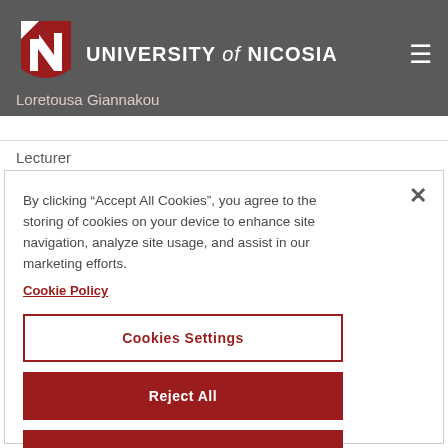[Figure (logo): University of Nicosia logo with red N shield and white text]
UNIVERSITY of NICOSIA
Loretousa Giannakou
Lecturer
By clicking “Accept All Cookies”, you agree to the storing of cookies on your device to enhance site navigation, analyze site usage, and assist in our marketing efforts.
Cookie Policy
Cookies Settings
Reject All
Accept All Cookies